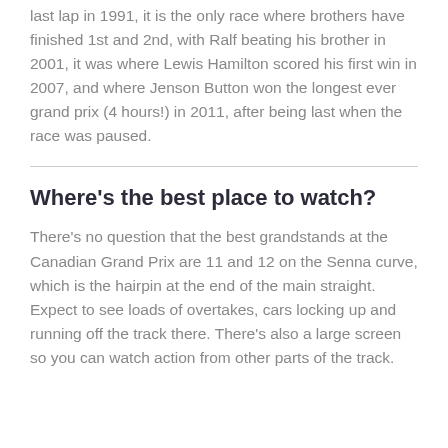last lap in 1991, it is the only race where brothers have finished 1st and 2nd, with Ralf beating his brother in 2001, it was where Lewis Hamilton scored his first win in 2007, and where Jenson Button won the longest ever grand prix (4 hours!) in 2011, after being last when the race was paused.
Where's the best place to watch?
There's no question that the best grandstands at the Canadian Grand Prix are 11 and 12 on the Senna curve, which is the hairpin at the end of the main straight. Expect to see loads of overtakes, cars locking up and running off the track there. There's also a large screen so you can watch action from other parts of the track.